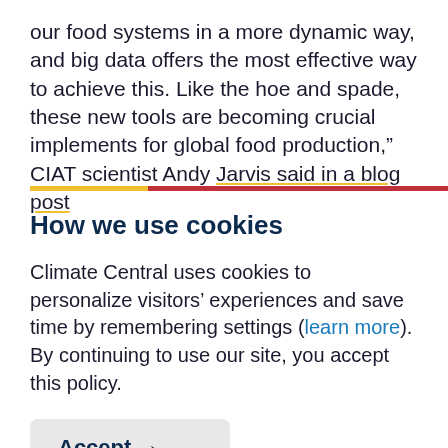our food systems in a more dynamic way, and big data offers the most effective way to achieve this. Like the hoe and spade, these new tools are becoming crucial implements for global food production," CIAT scientist Andy Jarvis said in a blog post.
How we use cookies
Climate Central uses cookies to personalize visitors' experiences and save time by remembering settings (learn more). By continuing to use our site, you accept this policy.
Accept →